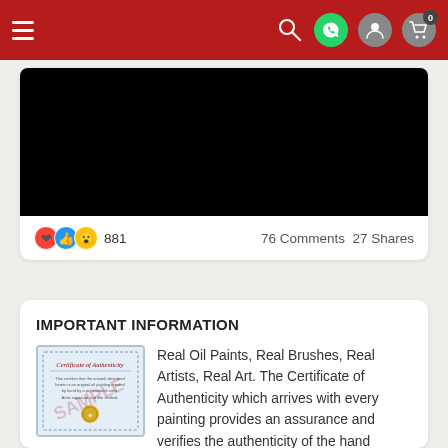Navigation bar with hamburger menu, search, WhatsApp, user, and cart icons
[Figure (screenshot): Black video placeholder embedded in a social media post card]
881   76 Comments  27 Shares
IMPORTANT INFORMATION
[Figure (photo): Certificate of Authenticity sample document with blue border and gold seal]
Real Oil Paints, Real Brushes, Real Artists, Real Art. The Certificate of Authenticity which arrives with every painting provides an assurance and verifies the authenticity of the hand painted fine art reproduction you purchased. Each oil painting is created by hand using only the finest